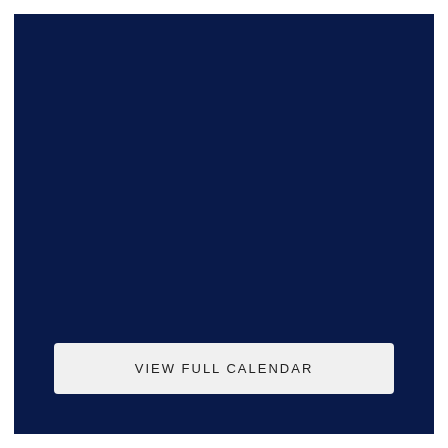[Figure (other): Large dark navy blue rectangular background block filling most of the page]
VIEW FULL CALENDAR